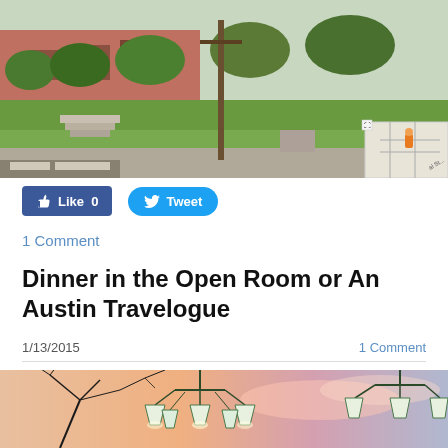[Figure (photo): Google Street View screenshot showing a street corner with grass, steps, a telephone pole, a building in the background labeled 'Mather School', and a small map inset in the lower right corner.]
[Figure (screenshot): Social sharing buttons: a blue Facebook 'Like 0' button and a light-blue Twitter 'Tweet' button.]
1 Comment
Dinner in the Open Room or An Austin Travelogue
1/13/2015
1 Comment
[Figure (photo): A photo showing chandelier lamps with white cone-shaped shades against a warm sunset sky with silhouettes of bare tree branches.]